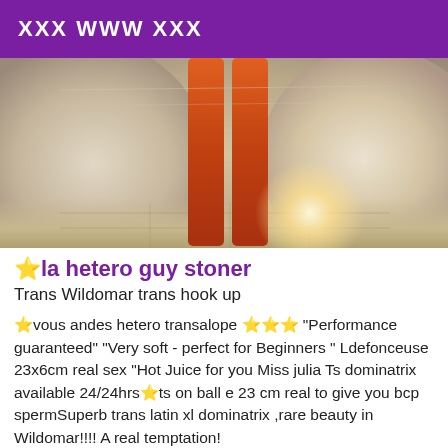XXX WWW XXX
[Figure (photo): Photo showing legs of a person in reddish/orange stockings or tights, with spherical/circular blurred shapes on sides and a bright light glow in the lower right area, tile floor visible]
★la hetero guy stoner
Trans Wildomar trans hook up
★vous andes hetero transalope ★★★ "Performance guaranteed" "Very soft - perfect for Beginners " Ldefonceuse 23x6cm real sex "Hot Juice for you Miss julia Ts dominatrix available 24/24hrs★ts on ball e 23 cm real to give you bcp spermSuperb trans latin xl dominatrix ,rare beauty in Wildomar!!!! A real temptation!